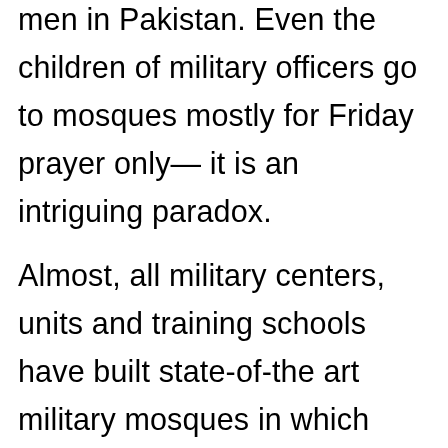men in Pakistan. Even the children of military officers go to mosques mostly for Friday prayer only— it is an intriguing paradox.
Almost, all military centers, units and training schools have built state-of-the art military mosques in which worshipers pray to God. The mosques, however, are not as inclusive as the military itself. You will never find any Shia imam in these mosques. Very few people from other sects of Islam go to the military mosque. One of the Sepoys, an unprejudiced worshiper told us that once he was bullied